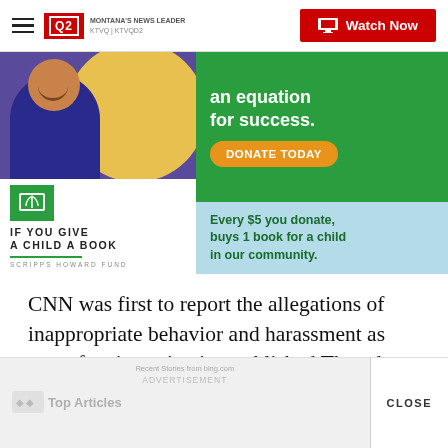Q2 MONTANA'S NEWS LEADER | Watch Now
[Figure (advertisement): Scripps Howard Fund 'If You Give a Child a Book' advertisement. Left side shows a child smiling with books. Right top is green with text 'an equation for success.' and orange 'DONATE TODAY' button. Right bottom is light blue with text 'Every $5 you donate, buys 1 book for a child in our community.']
CNN was first to report the allegations of inappropriate behavior and harassment as part of an investigation published Thursday.
[Figure (advertisement): Bottom advertisement area showing 'ADVERTISEMENT' label, Recent Stories from bing.com text, and Top Articles section with logos, with a CLOSE button on the right.]